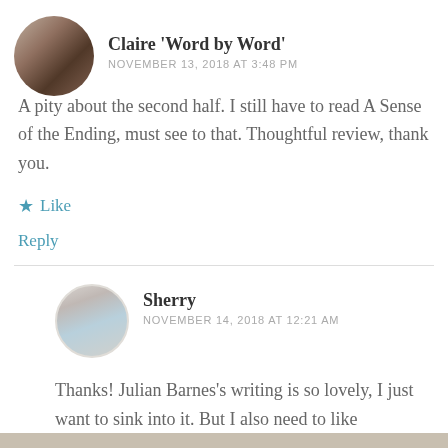[Figure (photo): Circular avatar photo of Claire, sepia-toned portrait of a woman]
Claire 'Word by Word'
NOVEMBER 13, 2018 AT 3:48 PM
A pity about the second half. I still have to read A Sense of the Ending, must see to that. Thoughtful review, thank you.
★ Like
Reply
[Figure (photo): Circular avatar photo of Sherry, young child portrait]
Sherry
NOVEMBER 14, 2018 AT 12:21 AM
Thanks! Julian Barnes's writing is so lovely, I just want to sink into it. But I also need to like